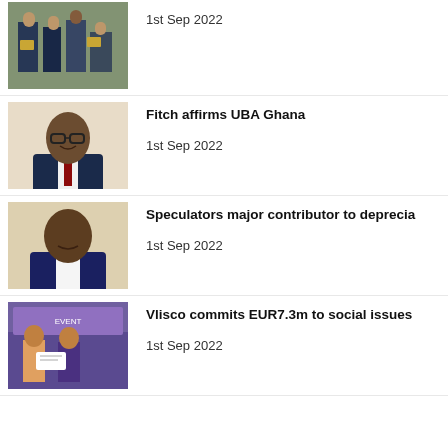[Figure (photo): Award ceremony photo with people holding plaques]
1st Sep 2022
[Figure (photo): Portrait of a man in a suit with glasses]
Fitch affirms UBA Ghana
1st Sep 2022
[Figure (photo): Portrait of a man in a dark suit]
Speculators major contributor to deprecia
1st Sep 2022
[Figure (photo): Event photo with people and a banner in purple]
Vlisco commits EUR7.3m to social issues
1st Sep 2022